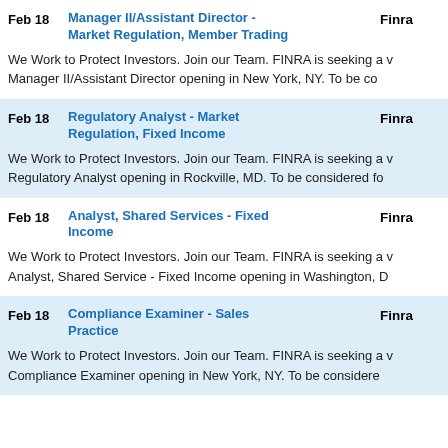Feb 18 | Manager II/Assistant Director - Market Regulation, Member Trading | Finra | We Work to Protect Investors. Join our Team. FINRA is seeking a Manager II/Assistant Director opening in New York, NY. To be co...
Feb 18 | Regulatory Analyst - Market Regulation, Fixed Income | Finra | We Work to Protect Investors. Join our Team. FINRA is seeking a Regulatory Analyst opening in Rockville, MD. To be considered fo...
Feb 18 | Analyst, Shared Services - Fixed Income | Finra | We Work to Protect Investors. Join our Team. FINRA is seeking a Analyst, Shared Service - Fixed Income opening in Washington, D...
Feb 18 | Compliance Examiner - Sales Practice | Finra | We Work to Protect Investors. Join our Team. FINRA is seeking a Compliance Examiner opening in New York, NY. To be considere...